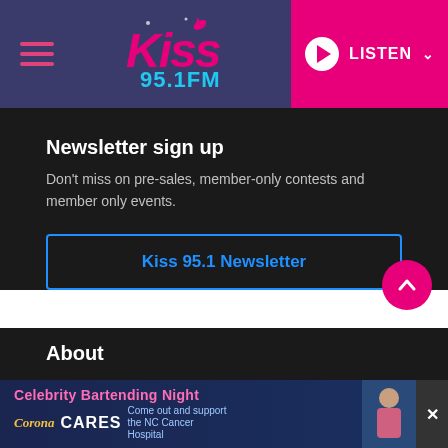Kiss 95.1 FM — LISTEN
Newsletter sign up
Don't miss on pre-sales, member-only contests and member only events.
Kiss 95.1 Newsletter
About
Privacy Policy
Terms of Service
[Figure (infographic): Celebrity Bartending Night — Corona Cares. Come out and support the NC Cancer Hospital. Advertisement banner at bottom of page.]